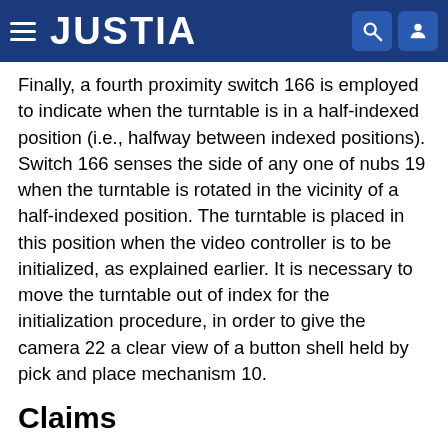JUSTIA
Finally, a fourth proximity switch 166 is employed to indicate when the turntable is in a half-indexed position (i.e., halfway between indexed positions). Switch 166 senses the side of any one of nubs 19 when the turntable is rotated in the vicinity of a half-indexed position. The turntable is placed in this position when the video controller is to be initialized, as explained earlier. It is necessary to move the turntable out of index for the initialization procedure, in order to give the camera 22 a clear view of a button shell held by pick and place mechanism 10.
Claims
1. A press comprising:
means for supporting an object;
means for lifting the object support means in an